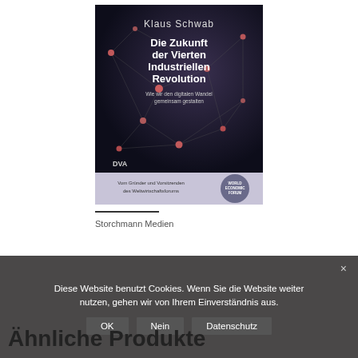[Figure (illustration): Book cover of 'Die Zukunft der Vierten Industriellen Revolution' by Klaus Schwab. Dark background with network/node graphic. Published by DVA. Subtitle: 'Wie wir den digitalen Wandel gemeinsam gestalten'. Bottom band: 'Vom Gründer und Vorsitzenden des Weltwirtschaftsforums' with World Economic Forum logo.]
Storchmann Medien
Diese Website benutzt Cookies. Wenn Sie die Website weiter nutzen, gehen wir von Ihrem Einverständnis aus.
OK   Nein   Datenschutz
Ähnliche Produkte